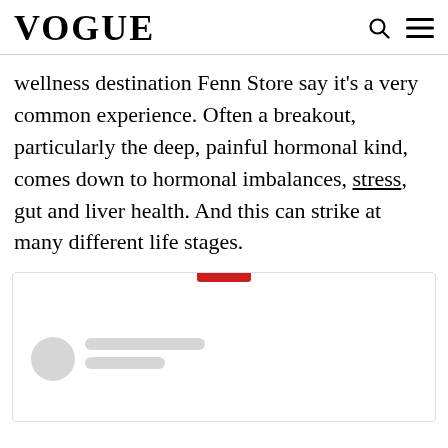VOGUE
wellness destination Fenn Store say it’s a very common experience. Often a breakout, particularly the deep, painful hormonal kind, comes down to hormonal imbalances, stress, gut and liver health. And this can strike at many different life stages.
[Figure (other): Embedded social media or content card with a red accent bar at top, a circular gray avatar placeholder on the left, and two gray placeholder text lines on the right, on a white background with light border.]